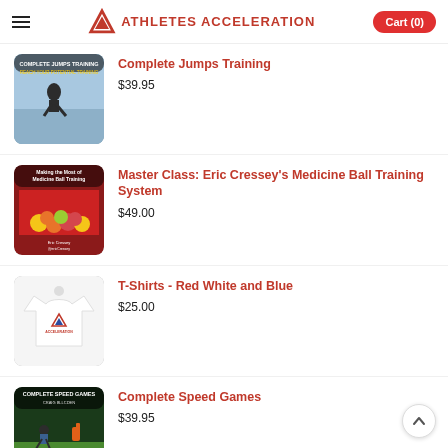ATHLETES ACCELERATION  Cart (0)
Complete Jumps Training
$39.95
Master Class: Eric Cressey's Medicine Ball Training System
$49.00
T-Shirts - Red White and Blue
$25.00
Complete Speed Games
$39.95